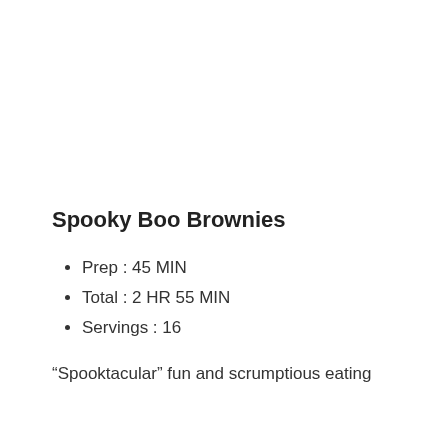Spooky Boo Brownies
Prep : 45 MIN
Total : 2 HR 55 MIN
Servings : 16
“Spooktacular” fun and scrumptious eating